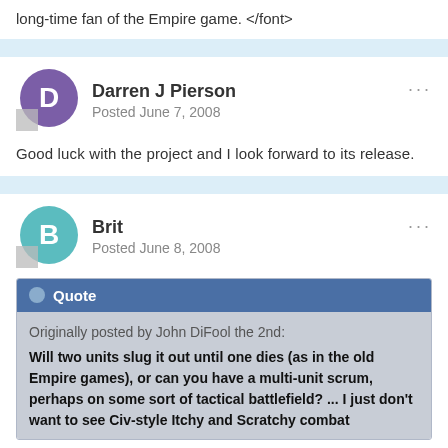long-time fan of the Empire game. </font>
Darren J Pierson
Posted June 7, 2008
Good luck with the project and I look forward to its release.
Brit
Posted June 8, 2008
Quote
Originally posted by John DiFool the 2nd:
Will two units slug it out until one dies (as in the old Empire games), or can you have a multi-unit scrum, perhaps on some sort of tactical battlefield? ... I just don't want to see Civ-style Itchy and Scratchy combat